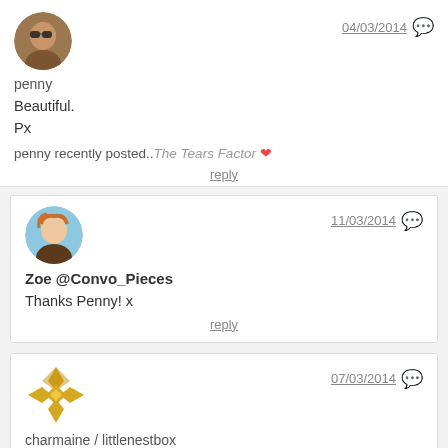[Figure (screenshot): Blog comment section with four user comments. Comment 1 by penny (04/03/2014): 'Beautiful. Px penny recently posted..The Tears Factor'. Comment 2 by Zoe @Convo_Pieces (11/03/2014): 'Thanks Penny! x'. Comment 3 by charmaine / littlenestbox (07/03/2014): 'ah, what a brilliant post, and those photos are magic! x'. Comment 4 (partial, 11/03/2014).]